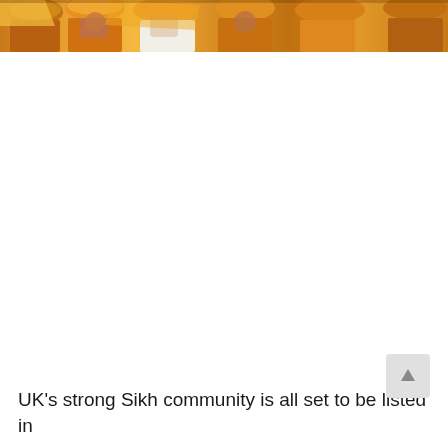[Figure (photo): Photograph of people wearing orange turbans and clothing, likely at a Sikh community event or gathering. The image is cropped at the top of the page showing partial figures.]
UK's strong Sikh community is all set to be listed in